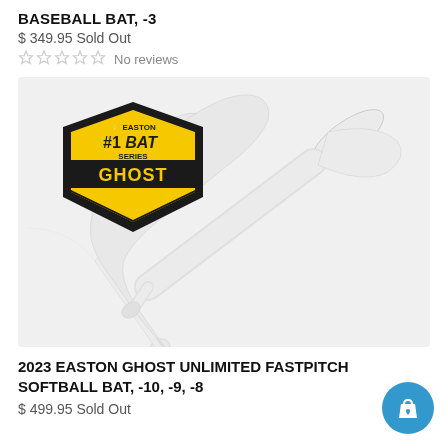BASEBALL BAT, -3
$ 349.95 Sold Out
No reviews
[Figure (photo): Easton Ghost Unlimited fastpitch softball bat shown diagonally on grey background with Easton #1 Bat Series Performance Fastpitch Bat Ghost badge logo in upper left]
2023 EASTON GHOST UNLIMITED FASTPITCH SOFTBALL BAT, -10, -9, -8
$ 499.95 Sold Out